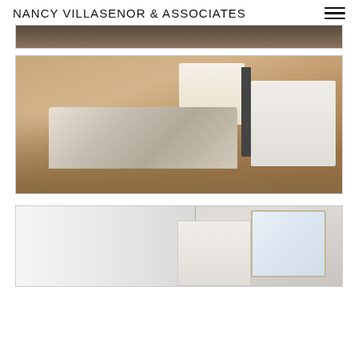NANCY VILLASENOR & ASSOCIATES
[Figure (photo): Partial view of a room, cropped at top of page]
[Figure (photo): Bedroom with tan/beige walls, queen bed with floral comforter and dark pillows, nightstand with lamp, white bookshelf, tall dresser, floor lamp, and window with blinds]
[Figure (photo): Bathroom with white shower curtain on rod, white cabinet, mirror with frame, and lit vanity area]